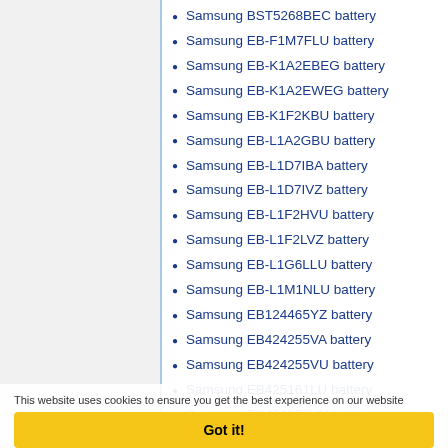Samsung BST5268BEC battery
Samsung EB-F1M7FLU battery
Samsung EB-K1A2EBEG battery
Samsung EB-K1A2EWEG battery
Samsung EB-K1F2KBU battery
Samsung EB-L1A2GBU battery
Samsung EB-L1D7IBA battery
Samsung EB-L1D7IVZ battery
Samsung EB-L1F2HVU battery
Samsung EB-L1F2LVZ battery
Samsung EB-L1G6LLU battery
Samsung EB-L1M1NLU battery
Samsung EB124465YZ battery
Samsung EB424255VA battery
Samsung EB424255VU battery
Samsung EB425161LU battery
Samsung EB454357VU battery
Samsung EB484659VU battery
Samsung EB483450VU battery
Samsung EB484659VU battery
This website uses cookies to ensure you get the best experience on our website
Got it!